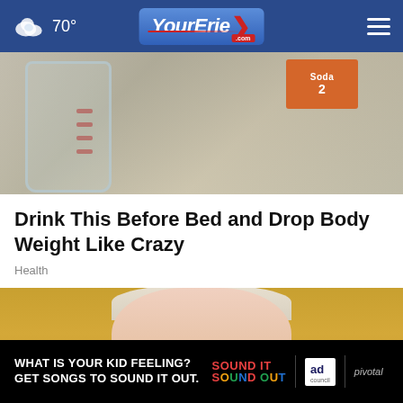70° YourErie.com
[Figure (photo): Close-up photo of a glass measuring jug and an orange baking soda box]
Drink This Before Bed and Drop Body Weight Like Crazy
Health
[Figure (photo): Elderly person with white/blonde hair and glasses looking at camera, colorful background]
[Figure (infographic): Black advertisement banner: WHAT IS YOUR KID FEELING? GET SONGS TO SOUND IT OUT. Sound It Out | Ad Council | pivotal]